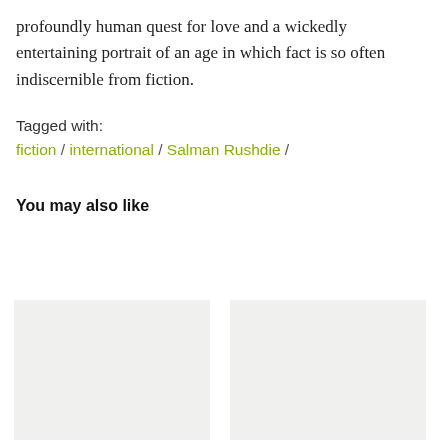profoundly human quest for love and a wickedly entertaining portrait of an age in which fact is so often indiscernible from fiction.
Tagged with:
fiction / international / Salman Rushdie /
You may also like
[Figure (other): Two gray placeholder thumbnail images side by side]